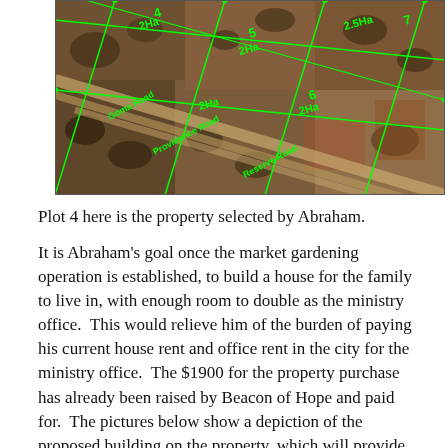[Figure (photo): Aerial/satellite photograph of land plots with green boundary lines and labels. Labels visible include plot numbers (4, 5, 6, 7), area measurements (2Ha, 2Ha, 2Ha, 2.5Ha, 2Ha), and road labels 'Goma Road Providence Road Reserve Road' running diagonally across the image.]
Plot 4 here is the property selected by Abraham.
It is Abraham's goal once the market gardening operation is established, to build a house for the family to live in, with enough room to double as the ministry office.  This would relieve him of the burden of paying his current house rent and office rent in the city for the ministry office.  The $1900 for the property purchase has already been raised by Beacon of Hope and paid for.  The pictures below show a depiction of the proposed building on the property, which will provide